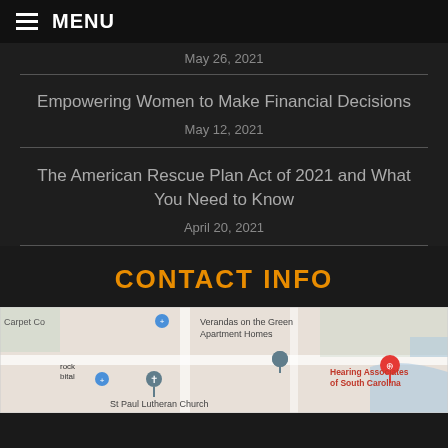MENU
May 26, 2021
Empowering Women to Make Financial Decisions
May 12, 2021
The American Rescue Plan Act of 2021 and What You Need to Know
April 20, 2021
CONTACT INFO
[Figure (map): Google Maps showing location of Hearing Associates of South Carolina near Verandas on the Green Apartment Homes, St Paul Lutheran Church, and Carpet Co]